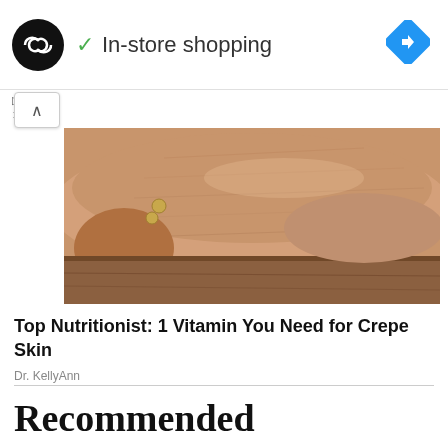[Figure (logo): Black circular logo with double arrow/infinity symbol in white, with green checkmark and 'In-store shopping' text, and blue diamond navigation arrow on right]
[Figure (photo): Close-up photo of an elderly person's arm/wrist with wrinkled skin and a gold bracelet, resting on a brown surface]
Top Nutritionist: 1 Vitamin You Need for Crepe Skin
Dr. KellyAnn
Recommended